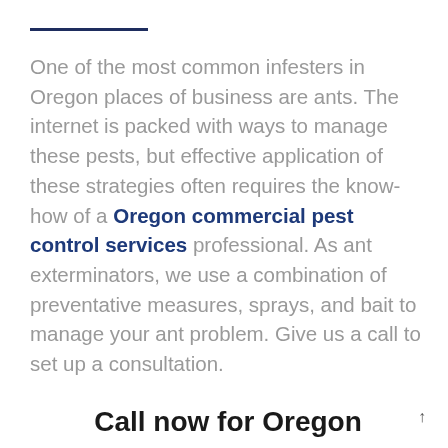One of the most common infesters in Oregon places of business are ants. The internet is packed with ways to manage these pests, but effective application of these strategies often requires the know-how of a Oregon commercial pest control services professional. As ant exterminators, we use a combination of preventative measures, sprays, and bait to manage your ant problem. Give us a call to set up a consultation.
Call now for Oregon